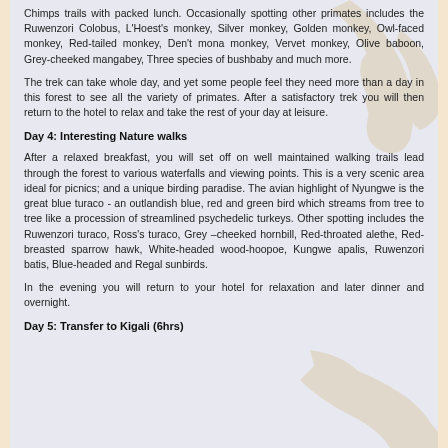Chimps trails with packed lunch. Occasionally spotting other primates includes the Ruwenzori Colobus, L'Hoest's monkey, Silver monkey, Golden monkey, Owl-faced monkey, Red-tailed monkey, Den't mona monkey, Vervet monkey, Olive baboon, Grey-cheeked mangabey, Three species of bushbaby and much more.
The trek can take whole day, and yet some people feel they need more than a day in this forest to see all the variety of primates. After a satisfactory trek you will then return to the hotel to relax and take the rest of your day at leisure.
Day 4: Interesting Nature walks
After a relaxed breakfast, you will set off on well maintained walking trails lead through the forest to various waterfalls and viewing points. This is a very scenic area ideal for picnics; and a unique birding paradise. The avian highlight of Nyungwe is the great blue turaco - an outlandish blue, red and green bird which streams from tree to tree like a procession of streamlined psychedelic turkeys. Other spotting includes the Ruwenzori turaco, Ross's turaco, Grey –cheeked hornbill, Red-throated alethe, Red-breasted sparrow hawk, White-headed wood-hoopoe, Kungwe apalis, Ruwenzori batis, Blue-headed and Regal sunbirds.
In the evening you will return to your hotel for relaxation and later dinner and overnight.
Day 5: Transfer to Kigali (6hrs)